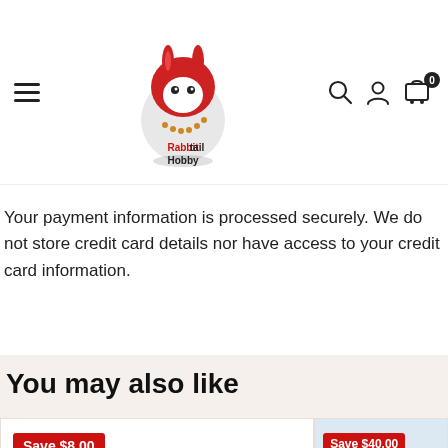RabbitTail Hobby — navigation header with logo, hamburger menu, search, account, and cart icons
Your payment information is processed securely. We do not store credit card details nor have access to your credit card information.
You may also like
[Figure (other): Product card with Save $8.00 badge, white background, no product image visible]
[Figure (other): Product card with Save $40.00 badge, showing anime figure with white/silver hair on light blue background]